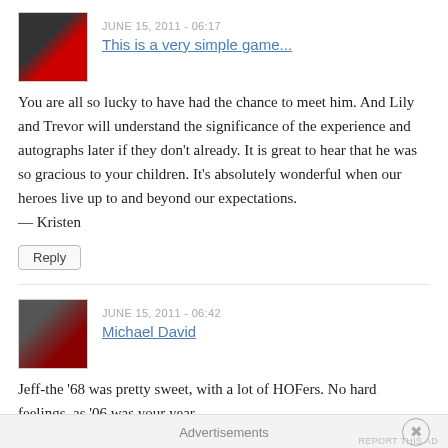JUNE 15, 2011 - 06:17
This is a very simple game...
You are all so lucky to have had the chance to meet him. And Lily and Trevor will understand the significance of the experience and autographs later if they don't already. It is great to hear that he was so gracious to your children. It's absolutely wonderful when our heroes live up to and beyond our expectations.
— Kristen
Reply
JUNE 15, 2011 - 06:42
Michael David
Jeff-the '68 was pretty sweet, with a lot of HOFers. No hard feelings, as '06 was your year.
Advertisements